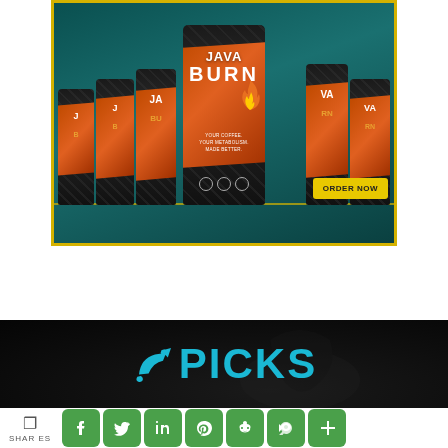[Figure (photo): Java Burn coffee supplement product packages - multiple black packages with orange/red diagonal stripe design showing JAVA BURN branding, with a teal background and yellow border, and yellow ORDER NOW button in bottom right]
[Figure (photo): Dark background image showing a running person silhouette with PICKS logo text in teal/cyan color]
[Figure (infographic): Social sharing bar with share icon, SHARES label, and green social media buttons: Facebook (f), Twitter (bird), LinkedIn (in), Pinterest (P), Reddit (alien), Link, and Plus (+)]